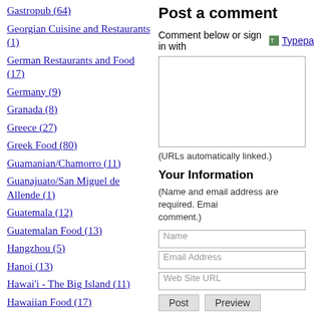Gastropub (64)
Georgian Cuisine and Restaurants (1)
German Restaurants and Food (17)
Germany (9)
Granada (8)
Greece (27)
Greek Food (80)
Guamanian/Chamorro (11)
Guanajuato/San Miguel de Allende (1)
Guatemala (12)
Guatemalan Food (13)
Hangzhou (5)
Hanoi (13)
Hawai'i - The Big Island (11)
Hawaiian Food (17)
Hida-Takayama and Gifu Prefecture (6)
Hiroshima (2)
Hokkaido (9)
Post a comment
Comment below or sign in with Typepa...
(URLs automatically linked.)
Your Information
(Name and email address are required. Emai... comment.)
Name
Email Address
Web Site URL
Post   Preview